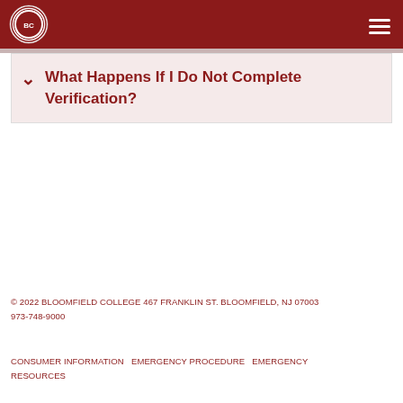Bloomfield College header with logo and navigation menu
What Happens If I Do Not Complete Verification?
© 2022 BLOOMFIELD COLLEGE 467 FRANKLIN ST. BLOOMFIELD, NJ 07003 973-748-9000
CONSUMER INFORMATION EMERGENCY PROCEDURE EMERGENCY RESOURCES